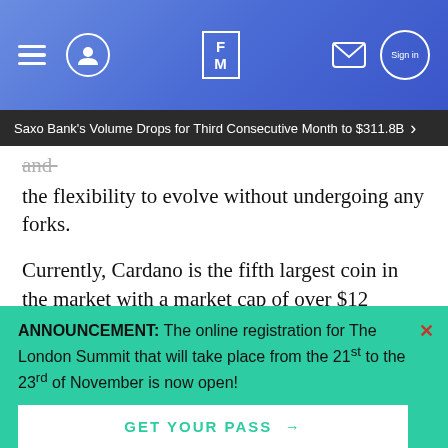FM (Finance Magnates) header with navigation icons
Saxo Bank's Volume Drops for Third Consecutive Month to $311.8B
the flexibility to evolve without undergoing any forks.
Currently, Cardano is the fifth largest coin in the market with a market cap of over $12 billion, according to coinmarketcap.com. Such massive acceptance of a four-month
ANNOUNCEMENT: The online registration for The London Summit that will take place from the 21st to the 23rd of November is now open!
GET YOUR PASS →